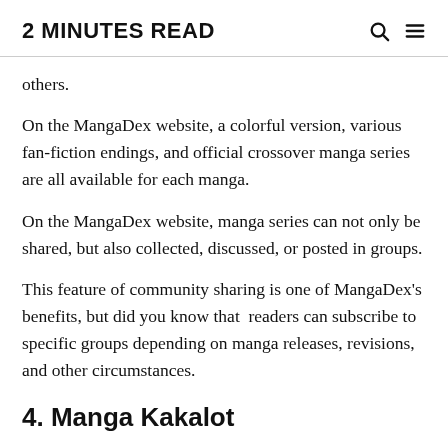2 MINUTES READ
others.
On the MangaDex website, a colorful version, various fan-fiction endings, and official crossover manga series are all available for each manga.
On the MangaDex website, manga series can not only be shared, but also collected, discussed, or posted in groups.
This feature of community sharing is one of MangaDex's benefits, but did you know that  readers can subscribe to specific groups depending on manga releases, revisions, and other circumstances.
4. Manga Kakalot